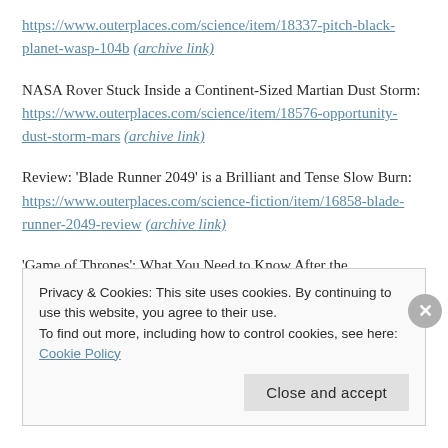https://www.outerplaces.com/science/item/18337-pitch-black-planet-wasp-104b (archive link)
NASA Rover Stuck Inside a Continent-Sized Martian Dust Storm: https://www.outerplaces.com/science/item/18576-opportunity-dust-storm-mars (archive link)
Review: 'Blade Runner 2049' is a Brilliant and Tense Slow Burn: https://www.outerplaces.com/science-fiction/item/16858-blade-runner-2049-review (archive link)
'Game of Thrones': What You Need to Know After the
Privacy & Cookies: This site uses cookies. By continuing to use this website, you agree to their use.
To find out more, including how to control cookies, see here: Cookie Policy